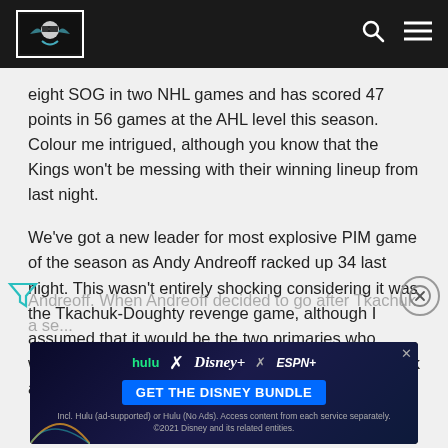[Site logo and navigation header with search and menu icons]
eight SOG in two NHL games and has scored 47 points in 56 games at the AHL level this season. Colour me intrigued, although you know that the Kings won't be messing with their winning lineup from last night.
We've got a new leader for most explosive PIM game of the season as Andy Andreoff racked up 34 last night. This wasn't entirely shocking considering it was the Tkachuk-Doughty revenge game, although I assumed that it would be the two primaries who would get into the fisticuffs but instead it was Tkachuk and Andreoff. When Andreoff decided to go after Tkachuk a se...
[Figure (other): Advertisement banner for Disney Bundle showing Hulu, Disney+, and ESPN+ logos with 'GET THE DISNEY BUNDLE' call-to-action button]